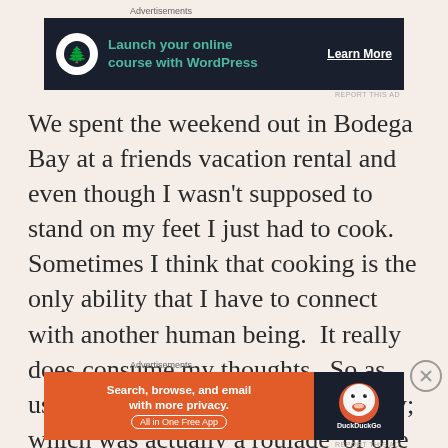Advertisements
[Figure (infographic): Dark banner advertisement: bonsai tree logo circle, teal text 'Launch your online course with WordPress', white underlined 'Learn More' button]
REPORT THIS AD
We spent the weekend out in Bodega Bay at a friends vacation rental and even though I wasn't supposed to stand on my feet I just had to cook.  Sometimes I think that cooking is the only ability that I have to connect with another human being.  It really does consume my thoughts.  So as usual Holiday fare included a turkey; which was actually a roulade  of one butterflied breast rolled with a de-boned thigh.
Advertisements
[Figure (infographic): Orange DuckDuckGo advertisement: 'Search, browse, and email with more privacy. All in One Free App' on orange background, DuckDuckGo logo on dark background]
REPORT THIS AD